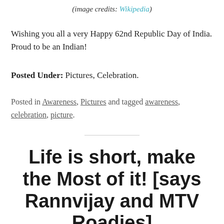(image credits: Wikipedia)
Wishing you all a very Happy 62nd Republic Day of India. Proud to be an Indian!
Posted Under: Pictures, Celebration.
Posted in Awareness, Pictures and tagged awareness, celebration, picture.
Life is short, make the Most of it! [says Rannvijay and MTV Roadies]